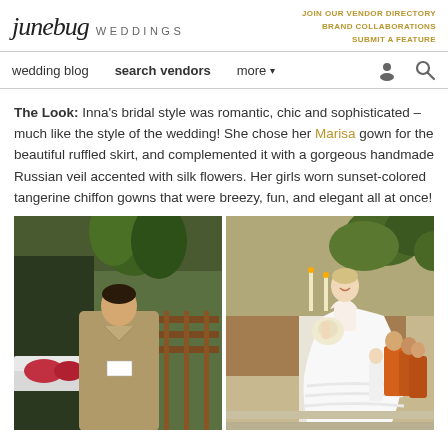junebug WEDDINGS | JOIN OUR VENDOR DIRECTORY BRAND COLLABORATIONS SUBMIT A FEATURE
wedding blog   search vendors   more
The Look: Inna's bridal style was romantic, chic and sophisticated – much like the style of the wedding! She chose her Marisa gown for the beautiful ruffled skirt, and complemented it with a gorgeous handmade Russian veil accented with silk flowers. Her girls worn sunset-colored tangerine chiffon gowns that were breezy, fun, and elegant all at once!
[Figure (photo): Two-panel wedding photo: left panel shows groom from behind in tan suit at an outdoor ceremony venue with lush greenery; right panel shows bride in white ruffled gown walking down aisle smiling, holding bouquet, with bridesmaids in orange/tangerine dresses visible in background.]